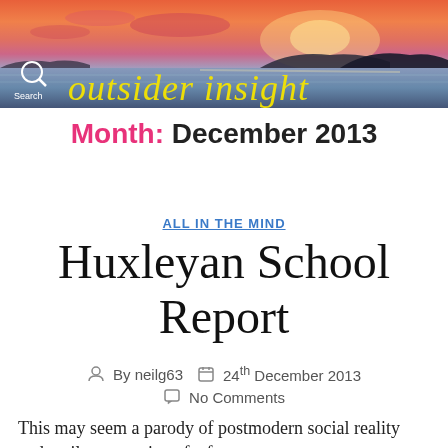[Figure (photo): Website header banner showing a sunset/sunrise over water with silhouettes of islands, with 'outsider insight' text in yellow italic font overlaid. Search icon and 'Search' text visible on left.]
Month: December 2013
ALL IN THE MIND
Huxleyan School Report
By neilg63   24th December 2013   No Comments
This may seem a parody of postmodern social reality and eerily suggestive of a future